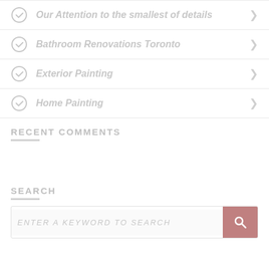Our Attention to the smallest of details
Bathroom Renovations Toronto
Exterior Painting
Home Painting
RECENT COMMENTS
SEARCH
Enter a keyword to search